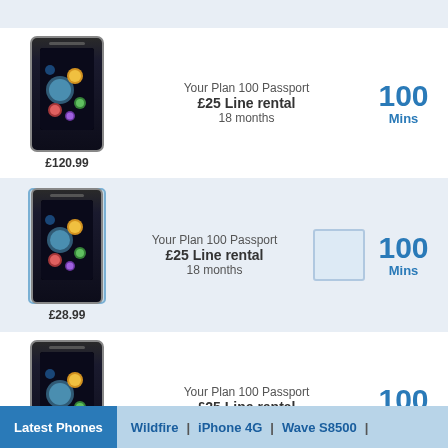[Figure (other): Phone product listing row 1: Samsung-style smartphone image, price £120.99, Your Plan 100 Passport, £25 Line rental, 18 months, 100 Mins]
[Figure (other): Phone product listing row 2 (highlighted/selected): Samsung-style smartphone image with blue border, price £28.99, Your Plan 100 Passport, £25 Line rental, 18 months, 100 Mins, with checkbox placeholder]
[Figure (other): Phone product listing row 3: Samsung-style smartphone image, price £79.99, Your Plan 100 Passport, £25 Line rental, 18 months, 100 Mins]
Latest Phones | Wildfire | iPhone 4G | Wave S8500 |